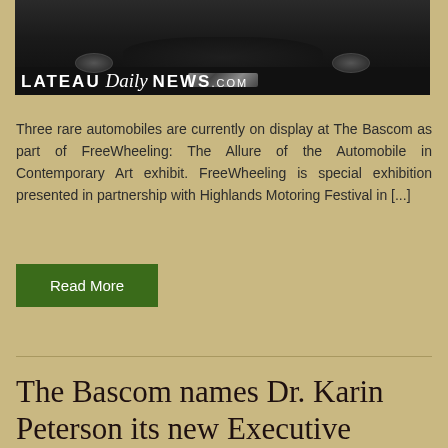[Figure (photo): A vintage/classic black automobile viewed from the front, photographed on a wooden floor surface. The image has a banner overlay at the bottom reading 'LATEAU Daily NEWS.COM']
Three rare automobiles are currently on display at The Bascom as part of FreeWheeling: The Allure of the Automobile in Contemporary Art exhibit. FreeWheeling is special exhibition presented in partnership with Highlands Motoring Festival in [...]
Read More
The Bascom names Dr. Karin Peterson its new Executive